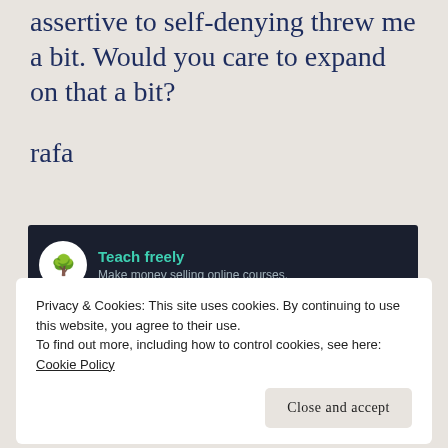assertive to self-denying threw me a bit. Would you care to expand on that a bit?
rafa
[Figure (other): Advertisement banner: dark background with bonsai tree logo circle, green text 'Teach freely', grey subtext 'Make money selling online courses.']
REPORT THIS AD
Privacy & Cookies: This site uses cookies. By continuing to use this website, you agree to their use.
To find out more, including how to control cookies, see here: Cookie Policy
Close and accept